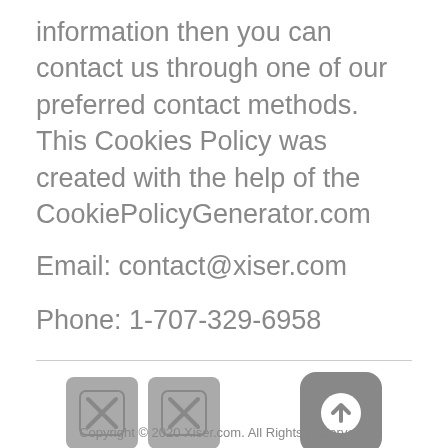information then you can contact us through one of our preferred contact methods. This Cookies Policy was created with the help of the CookiePolicyGenerator.com
Email: contact@xiser.com
Phone: 1-707-329-6958
[Figure (other): Two icon boxes with X marks and one rounded square button with an upward arrow, representing social media icons and a back-to-top button]
Copyright © 2020 Xiser.com. All Rights Reserved |